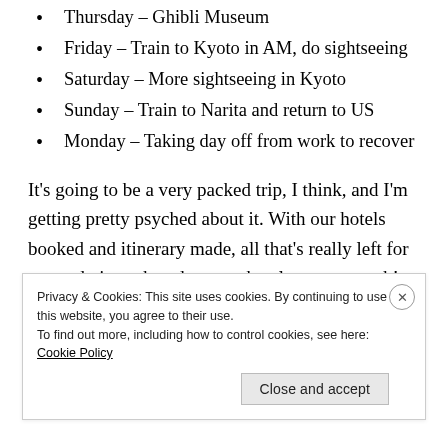Thursday – Ghibli Museum
Friday – Train to Kyoto in AM, do sightseeing
Saturday – More sightseeing in Kyoto
Sunday – Train to Narita and return to US
Monday – Taking day off from work to recover
It's going to be a very packed trip, I think, and I'm getting pretty psyched about it. With our hotels booked and itinerary made, all that's really left for me to do is pack and get on the plane next week!
Privacy & Cookies: This site uses cookies. By continuing to use this website, you agree to their use. To find out more, including how to control cookies, see here: Cookie Policy